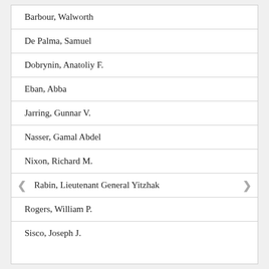| Barbour, Walworth |
| De Palma, Samuel |
| Dobrynin, Anatoliy F. |
| Eban, Abba |
| Jarring, Gunnar V. |
| Nasser, Gamal Abdel |
| Nixon, Richard M. |
| Rabin, Lieutenant General Yitzhak |
| Rogers, William P. |
| Sisco, Joseph J. |